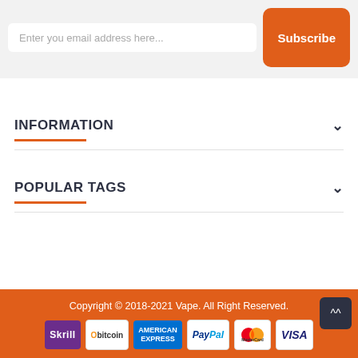[Figure (screenshot): Email subscription input box with placeholder text 'Enter you email address here...' and an orange Subscribe button]
INFORMATION
POPULAR TAGS
Copyright © 2018-2021 Vape. All Right Reserved.
[Figure (infographic): Payment method logos: Skrill, Obitcoin, American Express, PayPal, MasterCard, Visa]